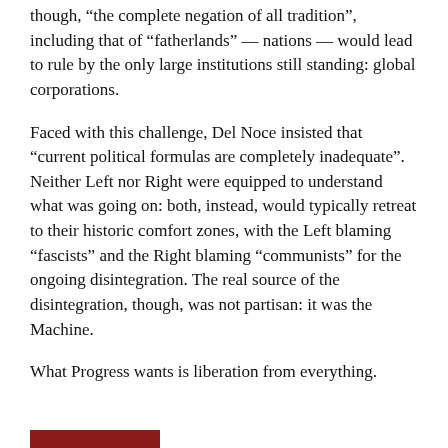though, “the complete negation of all tradition”, including that of “fatherlands” — nations — would lead to rule by the only large institutions still standing: global corporations.
Faced with this challenge, Del Noce insisted that “current political formulas are completely inadequate”. Neither Left nor Right were equipped to understand what was going on: both, instead, would typically retreat to their historic comfort zones, with the Left blaming “fascists” and the Right blaming “communists” for the ongoing disintegration. The real source of the disintegration, though, was not partisan: it was the Machine.
What Progress wants is liberation from everything.
[Figure (other): A dark red/maroon horizontal bar at the bottom of the page, partially visible.]